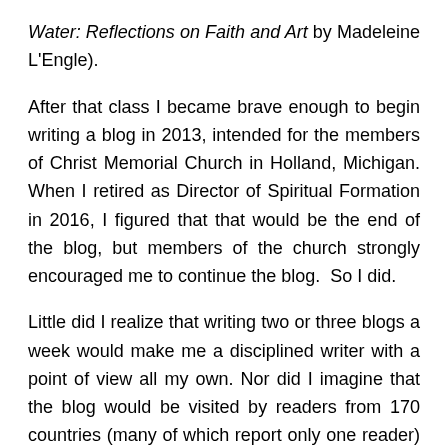Water: Reflections on Faith and Art by Madeleine L'Engle).
After that class I became brave enough to begin writing a blog in 2013, intended for the members of Christ Memorial Church in Holland, Michigan. When I retired as Director of Spiritual Formation in 2016, I figured that that would be the end of the blog, but members of the church strongly encouraged me to continue the blog.  So I did.
Little did I realize that writing two or three blogs a week would make me a disciplined writer with a point of view all my own. Nor did I imagine that the blog would be visited by readers from 170 countries (many of which report only one reader) as far-flung as Brazil, India, Australia, France, and Ghana, as well as some I have never heard of.  And I certainly never anticipated that I would write 1,000 blogs